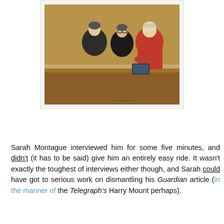[Figure (illustration): Court sketch showing two figures in dark clothing facing a judge in red robes at a wooden bench, signed by the artist.]
Sarah Montague interviewed him for some five minutes, and didn't (it has to be said) give him an entirely easy ride. It wasn't exactly the toughest of interviews either though, and Sarah could have got to serious work on dismantling his Guardian article (in the manner of the Telegraph's Harry Mount perhaps).
Should Today have granted him a platform at all? Was it just the urge for a 'scoop', a sensation-seeking journalistic gambit? Or did it betray a bias, a sympathy for Mr Huhne, a closeness to the Guardian - the usual things the BBC is accused of?
Judging by the general reaction though, both his Guardian article and his performance on Today really don't seem to